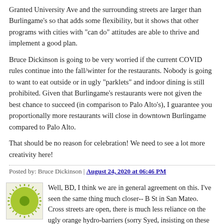Granted University Ave and the surrounding streets are larger than Burlingame's so that adds some flexibility, but it shows that other programs with cities with "can do" attitudes are able to thrive and implement a good plan.
Bruce Dickinson is going to be very worried if the current COVID rules continue into the fall/winter for the restaurants. Nobody is going to want to eat outside or in ugly "parklets" and indoor dining is still prohibited. Given that Burlingame's restaurants were not given the best chance to succeed (in comparison to Palo Alto's), I guarantee you proportionally more restaurants will close in downtown Burlingame compared to Palo Alto.
That should be no reason for celebration! We need to see a lot more creativity here!
Posted by: Bruce Dickinson | August 24, 2020 at 06:46 PM
[Figure (illustration): Green sunburst logo/avatar icon — circular green center with radiating spikes on yellow-green background]
Well, BD, I think we are in general agreement on this. I've seen the same thing much closer-- B St in San Mateo. Cross streets are open, there is much less reliance on the ugly orange hydro-barriers (sorry Syed, insisting on these for the ...